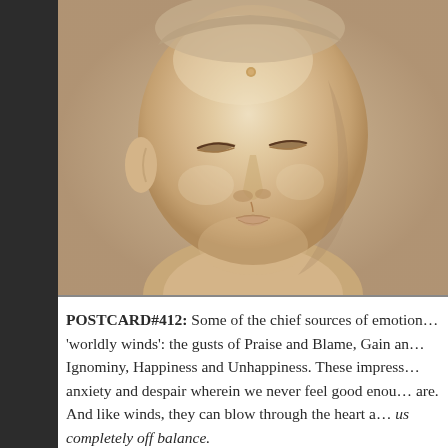[Figure (photo): Close-up photograph of a serene Buddha statue face carved in pale ivory/cream stone or wood, with closed downcast eyes, gentle expression, small dot on forehead, and smooth features. The face is cropped closely showing the face and part of the neck/shoulders.]
POSTCARD#412: Some of the chief sources of emotion… 'worldly winds': the gusts of Praise and Blame, Gain an… Ignominy, Happiness and Unhappiness. These impress… anxiety and despair wherein we never feel good enou… are. And like winds, they can blow through the heart a… us completely off balance.